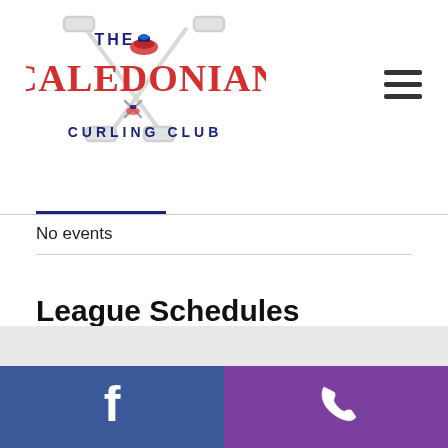[Figure (logo): The Caledonian Curling Club logo with crossed curling brooms and a curling stone, text in red and navy blue]
No events
League Schedules
League schedules, teams and results can all be found in the members section of the website once you LOGIN.
Facebook icon | Phone icon